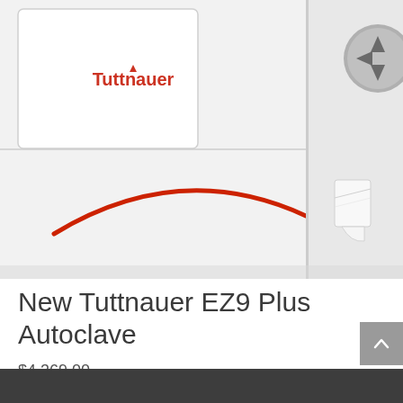[Figure (photo): Close-up photo of a Tuttnauer autoclave sterilizer. The machine is white/light gray with a red curved arc (door handle accent) on the front panel. The Tuttnauer brand name is shown in red text. A gray circular control dial is visible in the upper right. A paper roll dispenser is visible on the right side.]
New Tuttnauer EZ9 Plus Autoclave
$4,369.00